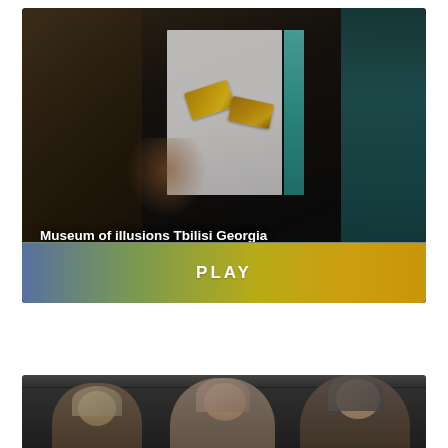[Figure (screenshot): Video thumbnail showing a dark museum interior with a hand holding a white card/paper and yellow objects (possibly illusion cards), with a white panel and cyan/teal vertical strip visible. Text overlay reads 'Museum of illusions Tbilisi Georgia'. Below the thumbnail is a golden-yellow gradient PLAY button.]
Museum of illusions Tbilisi Georgia
[Figure (photo): Partial video thumbnail showing three women wearing headscarves/hijabs in an outdoor or dim setting, cropped at the bottom of the page.]